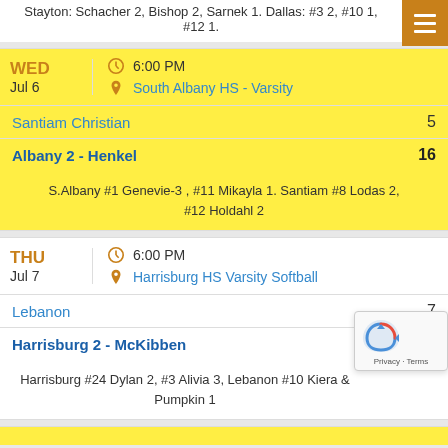Stayton: Schacher 2, Bishop 2, Sarnek 1. Dallas: #3 2, #10 1, #12 1.
WED Jul 6 | 6:00 PM | South Albany HS - Varsity
| Team | Score |
| --- | --- |
| Santiam Christian | 5 |
| Albany 2 - Henkel | 16 |
S.Albany #1 Genevie-3 , #11 Mikayla 1. Santiam #8 Lodas 2, #12 Holdahl 2
THU Jul 7 | 6:00 PM | Harrisburg HS Varsity Softball
| Team | Score |
| --- | --- |
| Lebanon | 7 |
| Harrisburg 2 - McKibben | 17 |
Harrisburg #24 Dylan 2, #3 Alivia 3, Lebanon #10 Kiera … Pumpkin 1